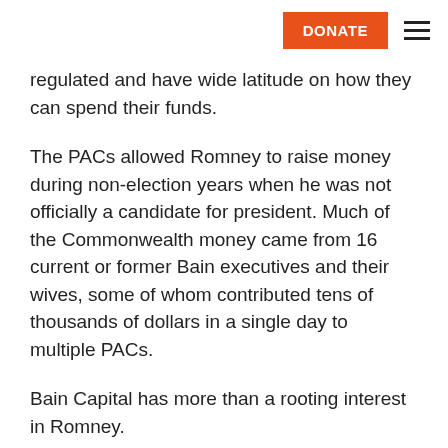DONATE [hamburger menu]
regulated and have wide latitude on how they can spend their funds.
The PACs allowed Romney to raise money during non-election years when he was not officially a candidate for president. Much of the Commonwealth money came from 16 current or former Bain executives and their wives, some of whom contributed tens of thousands of dollars in a single day to multiple PACs.
Bain Capital has more than a rooting interest in Romney.